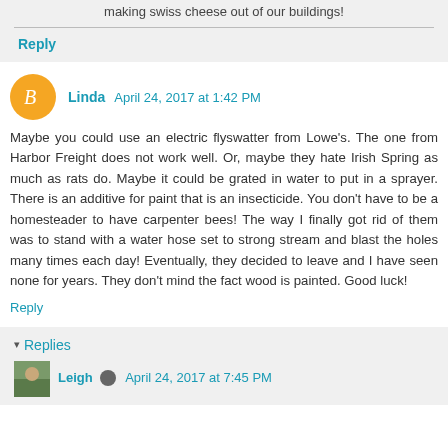making swiss cheese out of our buildings!
Reply
Linda April 24, 2017 at 1:42 PM
Maybe you could use an electric flyswatter from Lowe's. The one from Harbor Freight does not work well. Or, maybe they hate Irish Spring as much as rats do. Maybe it could be grated in water to put in a sprayer. There is an additive for paint that is an insecticide. You don't have to be a homesteader to have carpenter bees! The way I finally got rid of them was to stand with a water hose set to strong stream and blast the holes many times each day! Eventually, they decided to leave and I have seen none for years. They don't mind the fact wood is painted. Good luck!
Reply
Replies
Leigh April 24, 2017 at 7:45 PM